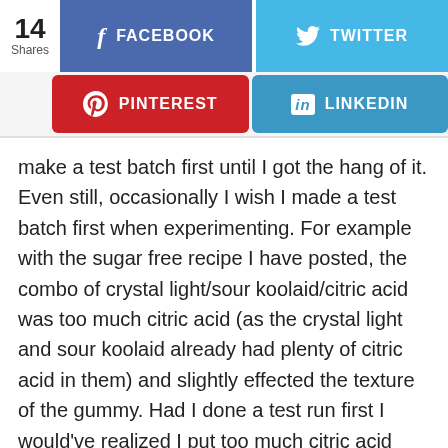[Figure (screenshot): Social media share buttons: 14 Shares counter, Facebook (blue), Twitter (light blue), Pinterest (red), LinkedIn (teal blue)]
make a test batch first until I got the hang of it. Even still, occasionally I wish I made a test batch first when experimenting. For example with the sugar free recipe I have posted, the combo of crystal light/sour koolaid/citric acid was too much citric acid (as the crystal light and sour koolaid already had plenty of citric acid in them) and slightly effected the texture of the gummy. Had I done a test run first I would’ve realized I put too much citric acid between the three, and I would’ve cut back a bit. But these things happen, and in the end they’re still good.. I just prefer